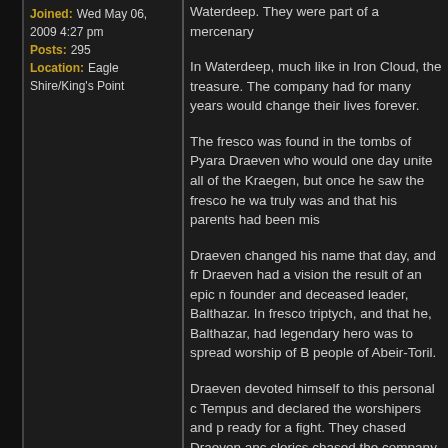Joined: Wed May 06, 2009 4:27 pm
Posts: 295
Location: Eagle Shire/King's Point
Waterdeep. They were part of a mercenary...
In Waterdeep, much like in Iron Cloud, the treasure. The company had for many years would change their lives forever.
The fresco was found in the tombs of Pyara... Draeven who would one day unite all of the Kraegen, but once he saw the fresco he wa... truly was and that his parents had been mis...
Draeven changed his name that day, and fr... Draeven had a vision the result of an epic n... founder and deceased leader, Balthazar. In... fresco triptych, and that he, Balthazar, had legendary hero was to spread worship of B... people of Abeir-Toril.
Draeven devoted himself to this personal c... Tempus and declared the worshipers and p... ready for a fight. They chased Draeven anc... clerics chased the company into an alleywa... having no other option of escape, cast a dir...
They came out on the other side in what th...